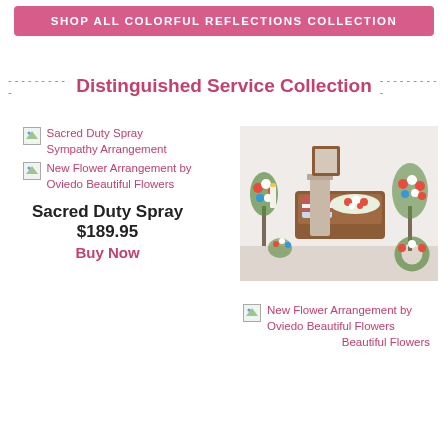SHOP ALL COLORFUL REFLECTIONS COLLECTION
Distinguished Service Collection
[Figure (photo): Broken image placeholder for Sacred Duty Spray Sympathy Arrangement]
[Figure (photo): Broken image placeholder for New Flower Arrangement by Oviedo Beautiful Flowers]
Sacred Duty Spray
$189.95
Buy Now
[Figure (photo): Photo of funeral flower arrangement with casket spray, standing sprays, and wreath]
[Figure (photo): Broken image placeholder for New Flower Arrangement by Oviedo Beautiful Flowers (second product)]